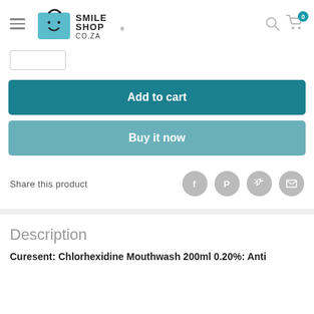[Figure (logo): Smile Shop CO.ZA logo with teal shopping bag icon containing a smiley face]
[Figure (other): Quantity input box (empty white rectangle with border)]
Add to cart
Buy it now
Share this product
Description
Curesent: Chlorhexidine Mouthwash 200ml 0.20%: Anti